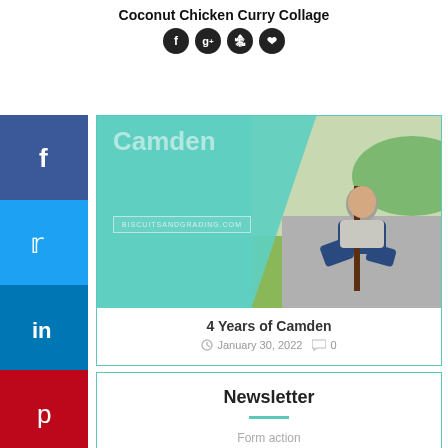Coconut Chicken Curry Collage
[Figure (screenshot): Blog post card showing a photo of a child kneeling outdoors on pavement, overlaid with teal/green background and text 'Camden' with URL box]
4 Years of Camden
January 30, 2022   0
Newsletter
Form action
Subscribe
Email address: